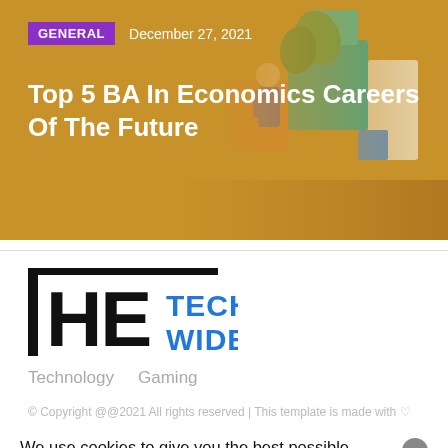[Figure (illustration): Article hero banner with golden/orange background and illustrated scene with people and building blocks on right side]
Top 5 BA In Economics Careers Of The Future
[Figure (logo): The Tech Wide logo — 'THE' in black bold letters with vertical bar, 'TECH WIDE' in blue bold letters]
Technology
Gaming
© Copyright @@2021 All rights reserved | This template is made with ♡
We use cookies to give you the best possible experience. By continuing to visit our website, you agree to the use of cookies as described in our Cookie Policy